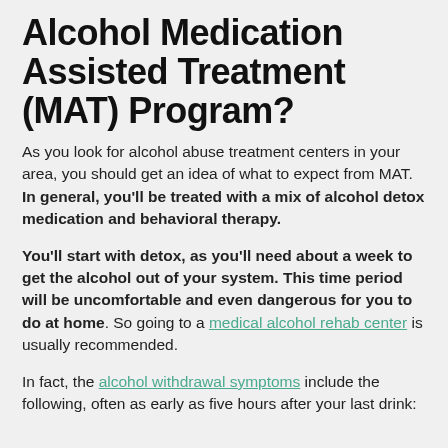Alcohol Medication Assisted Treatment (MAT) Program?
As you look for alcohol abuse treatment centers in your area, you should get an idea of what to expect from MAT. In general, you'll be treated with a mix of alcohol detox medication and behavioral therapy.
You'll start with detox, as you'll need about a week to get the alcohol out of your system. This time period will be uncomfortable and even dangerous for you to do at home. So going to a medical alcohol rehab center is usually recommended.
In fact, the alcohol withdrawal symptoms include the following, often as early as five hours after your last drink: